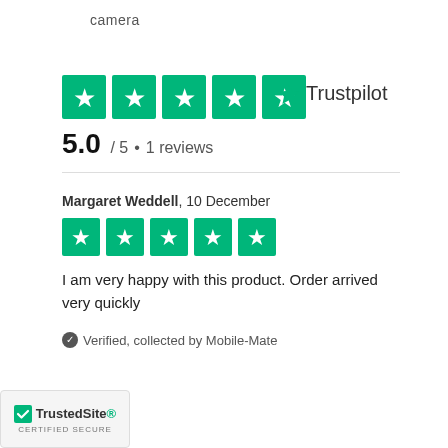camera
[Figure (logo): Five green star rating boxes (Trustpilot style) showing 5.0 out of 5, with Trustpilot logo on the right]
5.0 / 5 • 1 reviews
Margaret Weddell, 10 December
[Figure (illustration): Five green star rating boxes (Trustpilot style) for reviewer]
I am very happy with this product. Order arrived very quickly
Verified, collected by Mobile-Mate
[Figure (logo): TrustedSite Certified Secure badge]